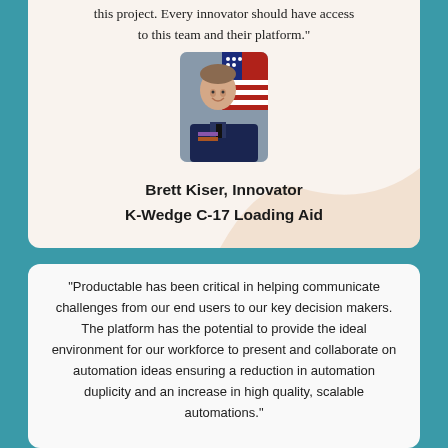this project. Every innovator should have access to this team and their platform."
[Figure (photo): Headshot of Brett Kiser in military dress uniform with American flag in background]
Brett Kiser, Innovator
K-Wedge C-17 Loading Aid
"Productable has been critical in helping communicate challenges from our end users to our key decision makers. The platform has the potential to provide the ideal environment for our workforce to present and collaborate on automation ideas ensuring a reduction in automation duplicity and an increase in high quality, scalable automations."